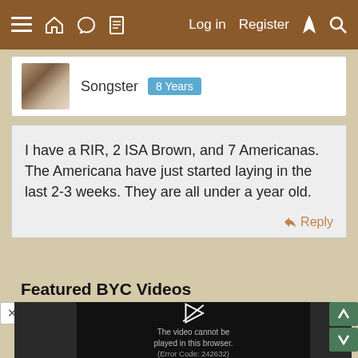≡ 🏠 💬 📄   Log in   Register   ⚡   🔍
Songster   8 Years
I have a RIR, 2 ISA Brown, and 7 Americanas. The Americana have just started laying in the last 2-3 weeks. They are all under a year old.
Reply
Featured BYC Videos
[Figure (screenshot): Video player showing error: The video cannot be played in this browser. (Error Code: 242632)]